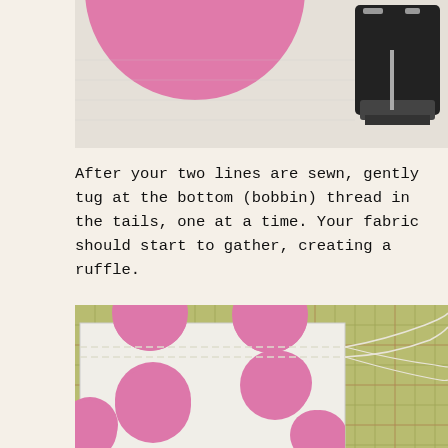[Figure (photo): Close-up photo of pink polka dot fabric under a sewing machine presser foot, showing two sewn stitch lines]
After your two lines are sewn, gently tug at the bottom (bobbin) thread in the tails, one at a time. Your fabric should start to gather, creating a ruffle.
[Figure (photo): Photo of white fabric with large pink polka dots laying on a yellow-green cutting mat, with two parallel basting stitch lines visible near the top edge and loose threads pulled to the right side]